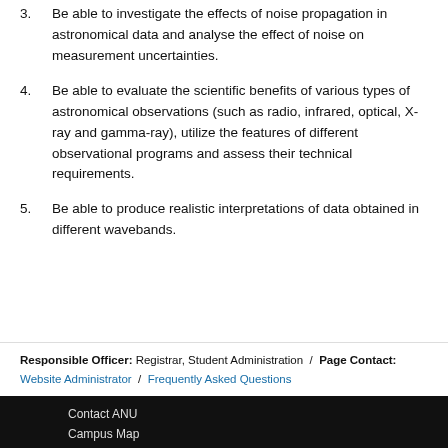3. Be able to investigate the effects of noise propagation in astronomical data and analyse the effect of noise on measurement uncertainties.
4. Be able to evaluate the scientific benefits of various types of astronomical observations (such as radio, infrared, optical, X-ray and gamma-ray), utilize the features of different observational programs and assess their technical requirements.
5. Be able to produce realistic interpretations of data obtained in different wavebands.
Responsible Officer: Registrar, Student Administration / Page Contact: Website Administrator / Frequently Asked Questions
Contact ANU
Campus Map